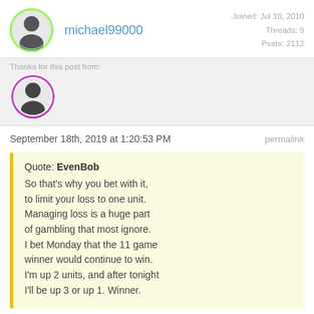michael99000
Joined: Jul 10, 2010
Threads: 9
Posts: 2112
Thanks for this post from:
September 18th, 2019 at 1:20:53 PM
permalink
Quote: EvenBob
So that's why you bet with it, to limit your loss to one unit. Managing loss is a huge part of gambling that most ignore. I bet Monday that the 11 game winner would continue to win. I'm up 2 units, and after tonight I'll be up 3 or up 1. Winner.